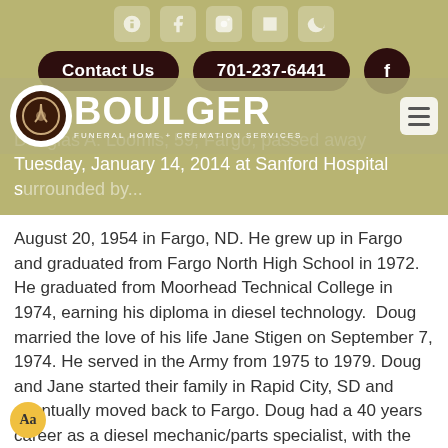Contact Us | 701-237-6441
[Figure (logo): Boulger Funeral Home + Cremation Services logo with circular emblem and white text on dark brown/olive background]
Douglas A. Loomis, 59, Fargo, passed away Tuesday, January 14, 2014 at Sanford Hospital surrounded by...
Doug was born to Eugene & Elsie Loomis on August 20, 1954 in Fargo, ND. He grew up in Fargo and graduated from Fargo North High School in 1972. He graduated from Moorhead Technical College in 1974, earning his diploma in diesel technology. Doug married the love of his life Jane Stigen on September 7, 1974. He served in the Army from 1975 to 1979. Doug and Jane started their family in Rapid City, SD and eventually moved back to Fargo. Doug had a 40 years career as a diesel mechanic/parts specialist, with the last of 25 years spent at RDO Equipment Company.
Doug was the proud father of his two daughters Jenna & Abbey. Family was the most important thing to him and there was nothing he wouldn't do